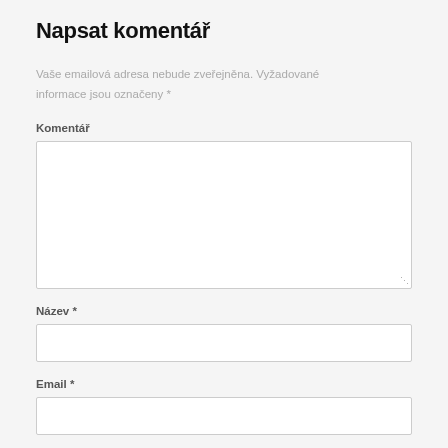Napsat komentář
Vaše emailová adresa nebude zveřejněna. Vyžadované informace jsou označeny *
Komentář
[Figure (other): Large comment text input box]
Název *
[Figure (other): Single-line text input for Název]
Email *
[Figure (other): Single-line text input for Email]
Webová stránka